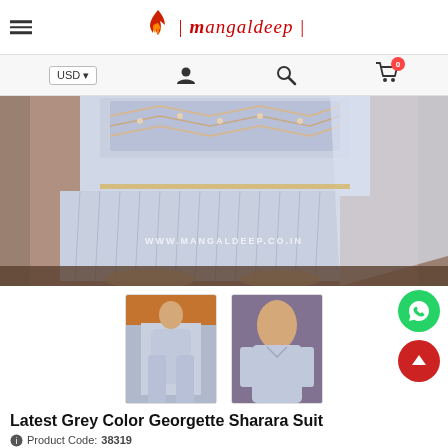Mangaldeep - header with logo, hamburger menu, USD selector, user icon, search icon, cart icon
[Figure (photo): Main product photo showing a grey Georgette Sharara Suit - close-up of lower body with embroidered kurta top and flowing sharara pants with dupatta. Watermark: WWW.MANGALDEEP.CO.IN]
[Figure (photo): Thumbnail 1: Full length view of model in grey sharara suit standing in front of brick wall]
[Figure (photo): Thumbnail 2: Close-up of model showing upper body of grey sharara suit with neckline detail]
Latest Grey Color Georgette Sharara Suit
Product Code: 38319